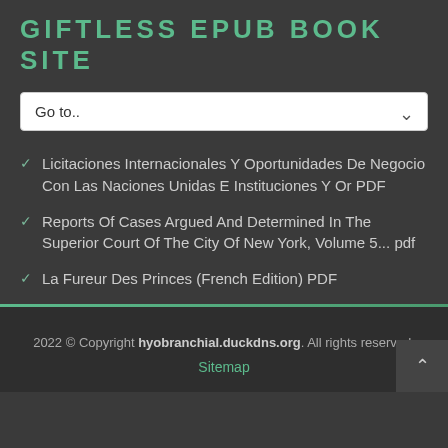GIFTLESS EPUB BOOK SITE
Licitaciones Internacionales Y Oportunidades De Negocio Con Las Naciones Unidas E Instituciones Y Or PDF
Reports Of Cases Argued And Determined In The Superior Court Of The City Of New York, Volume 5... pdf
La Fureur Des Princes (French Edition) PDF
2022 © Copyright hyobranchial.duckdns.org. All rights reserved. Sitemap